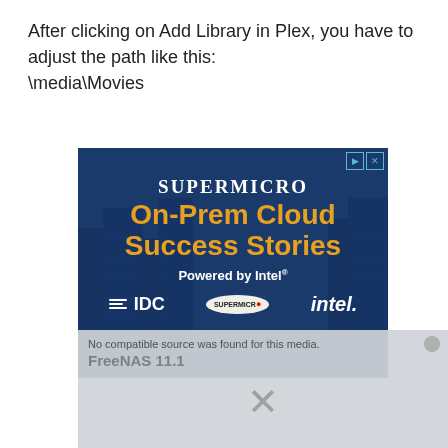After clicking on Add Library in Plex, you have to adjust the path like this: \media\Movies
[Figure (screenshot): Supermicro advertisement banner showing 'On-Prem Cloud Success Stories Powered by Intel' with IDC, Supermicro, and Intel logos on a dark blue server room background. Below it a partially visible screenshot of a FreeNAS 11.1 dialog with an X symbol.]